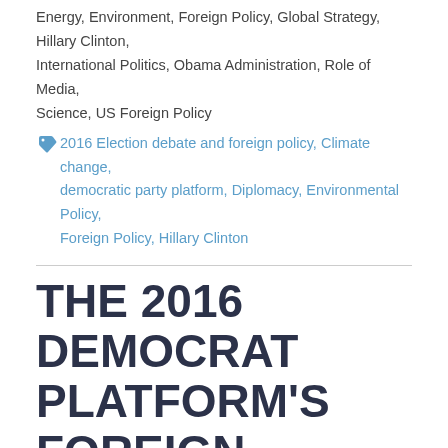Energy, Environment, Foreign Policy, Global Strategy, Hillary Clinton, International Politics, Obama Administration, Role of Media, Science, US Foreign Policy
2016 Election debate and foreign policy, Climate change, democratic party platform, Diplomacy, Environmental Policy, Foreign Policy, Hillary Clinton
THE 2016 DEMOCRAT PLATFORM'S FOREIGN AND NATIONAL SECURITY POSITIONS: TERRORISM